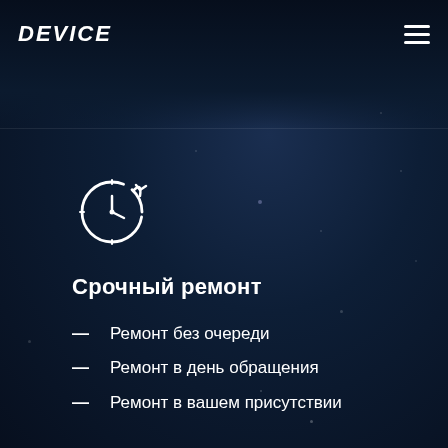DEVICE
[Figure (illustration): Clock/timer icon with circular arrow indicating urgent/quick service, white outline style on dark background]
Срочный ремонт
Ремонт без очереди
Ремонт в день обращения
Ремонт в вашем присутствии